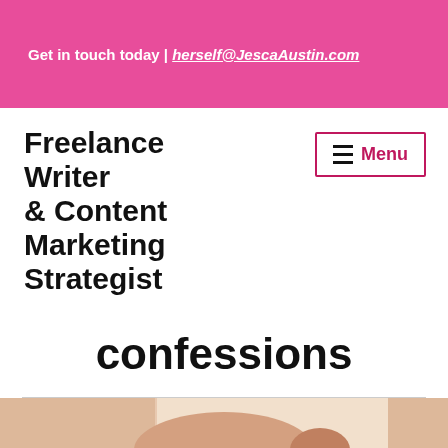Get in touch today | herself@JescaAustin.com
Freelance Writer & Content Marketing Strategist
Menu
confessions
[Figure (photo): Bottom partial image strip showing what appears to be a person's hand or skin, with white/cream and pink tones, partially cropped at page bottom.]